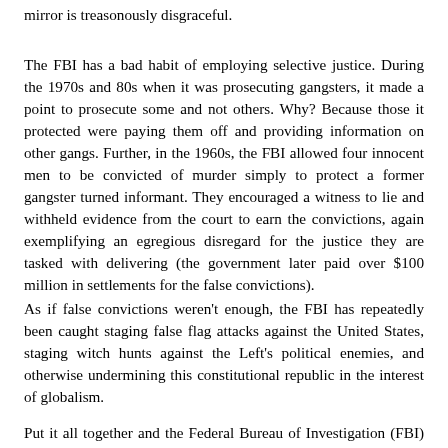mirror is treasonously disgraceful.
The FBI has a bad habit of employing selective justice. During the 1970s and 80s when it was prosecuting gangsters, it made a point to prosecute some and not others. Why? Because those it protected were paying them off and providing information on other gangs. Further, in the 1960s, the FBI allowed four innocent men to be convicted of murder simply to protect a former gangster turned informant. They encouraged a witness to lie and withheld evidence from the court to earn the convictions, again exemplifying an egregious disregard for the justice they are tasked with delivering (the government later paid over $100 million in settlements for the false convictions).
As if false convictions weren't enough, the FBI has repeatedly been caught staging false flag attacks against the United States, staging witch hunts against the Left's political enemies, and otherwise undermining this constitutional republic in the interest of globalism.
Put it all together and the Federal Bureau of Investigation (FBI) is